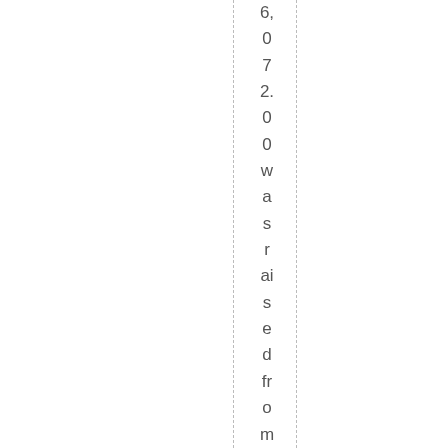6,072.00 was raised from ticket sales,